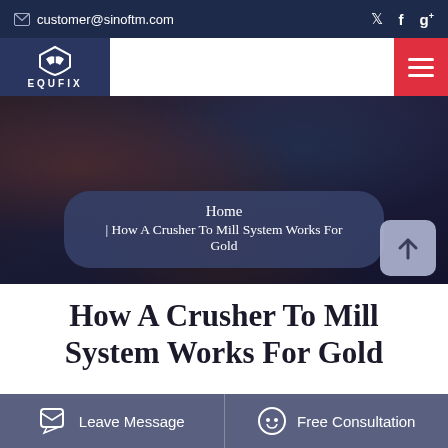customer@sinoftm.com
[Figure (logo): EQUFIX logo with eagle/shield emblem]
[Figure (photo): Industrial/welding background hero image]
Home | How A Crusher To Mill System Works For Gold
How A Crusher To Mill System Works For Gold
Leave Message
Free Consultation